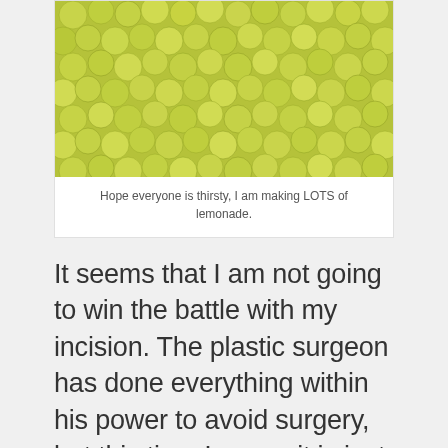[Figure (photo): A large pile of small yellow-green round fruits (limes or lemons), filling the entire image frame.]
Hope everyone is thirsty, I am making LOTS of lemonade.
It seems that I am not going to win the battle with my incision. The plastic surgeon has done everything within his power to avoid surgery, but this time I guess it is just meant to happen.
Today I was working out of the office with some of my team, and I started to experience sharp pain in my legs, back and